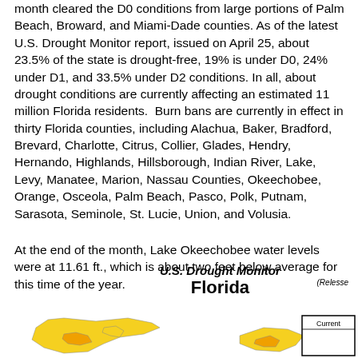month cleared the D0 conditions from large portions of Palm Beach, Broward, and Miami-Dade counties. As of the latest U.S. Drought Monitor report, issued on April 25, about 23.5% of the state is drought-free, 19% is under D0, 24% under D1, and 33.5% under D2 conditions. In all, about drought conditions are currently affecting an estimated 11 million Florida residents.  Burn bans are currently in effect in thirty Florida counties, including Alachua, Baker, Bradford, Brevard, Charlotte, Citrus, Collier, Glades, Hendry, Hernando, Highlands, Hillsborough, Indian River, Lake, Levy, Manatee, Marion, Nassau Counties, Okeechobee, Orange, Osceola, Palm Beach, Pasco, Polk, Putnam, Sarasota, Seminole, St. Lucie, Union, and Volusia.
At the end of the month, Lake Okeechobee water levels were at 11.61 ft., which is about two feet below average for this time of the year.
U.S. Drought Monitor Florida
[Figure (map): U.S. Drought Monitor map of Florida showing drought conditions with colored regions. A legend box labeled 'Current' is visible in the bottom right corner.]